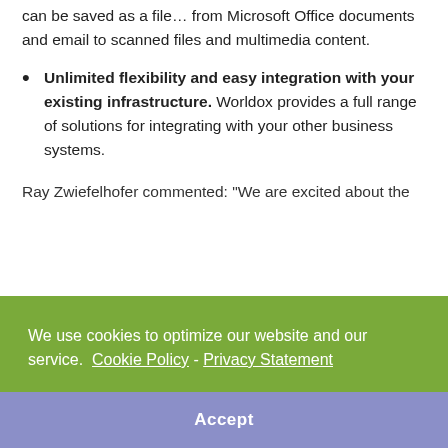can be saved as a file… from Microsoft Office documents and email to scanned files and multimedia content.
Unlimited flexibility and easy integration with your existing infrastructure. Worldox provides a full range of solutions for integrating with your other business systems.
Ray Zwiefelhofer commented: “We are excited about the
We use cookies to optimize our website and our service.  Cookie Policy  -  Privacy Statement
Accept